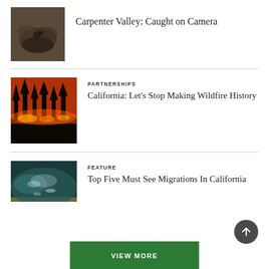[Figure (photo): Dark forest scene with animal tracks or smoky ground, muted earth tones]
Carpenter Valley: Caught on Camera
[Figure (photo): Wildfire at night — orange and red flames engulfing a tree line against a dark sky]
PARTNERSHIPS
California: Let’s Stop Making Wildfire History
[Figure (photo): Underwater scene showing fish or aquatic life over rocky streambed, teal and brown tones]
FEATURE
Top Five Must See Migrations In California
VIEW MORE